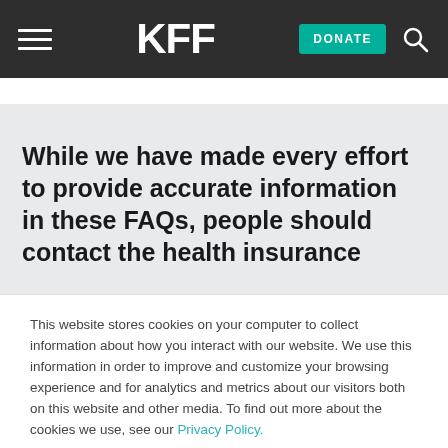KFF | DONATE
While we have made every effort to provide accurate information in these FAQs, people should contact the health insurance
This website stores cookies on your computer to collect information about how you interact with our website. We use this information in order to improve and customize your browsing experience and for analytics and metrics about our visitors both on this website and other media. To find out more about the cookies we use, see our Privacy Policy.